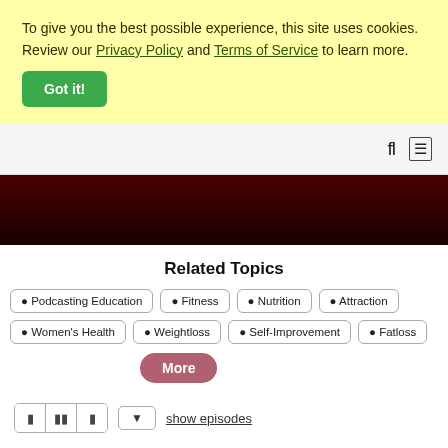To give you the best possible experience, this site uses cookies. Review our Privacy Policy and Terms of Service to learn more.
Got it!
[Figure (screenshot): Navigation bar with search and menu icons]
[Figure (illustration): Dark red gradient banner]
Related Topics
Podcasting Education
Fitness
Nutrition
Attraction
Women's Health
Weightloss
Self-Improvement
Fatloss
More
show episodes
The Last 10 Pounds Podcast